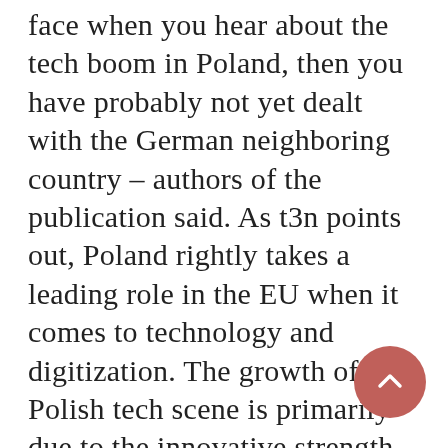face when you hear about the tech boom in Poland, then you have probably not yet dealt with the German neighboring country – authors of the publication said. As t3n points out, Poland rightly takes a leading role in the EU when it comes to technology and digitization. The growth of the Polish tech scene is primarily due to the innovative strength of the tech companies, but also to the willingness of a new, hungry generation of digital natives to learn. The strong economy, the entrepreneurial STEM graduates,  cost